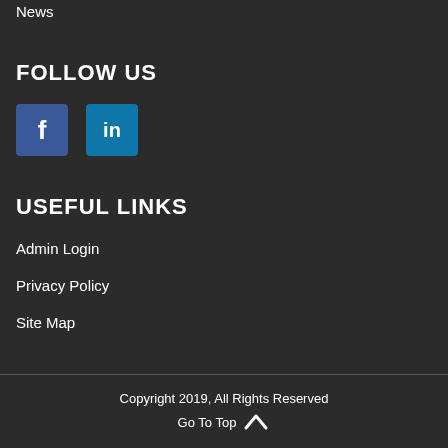News
FOLLOW US
[Figure (illustration): Facebook and LinkedIn social media icon buttons]
USEFUL LINKS
Admin Login
Privacy Policy
Site Map
Copyright 2019, All Rights Reserved Go To Top ^